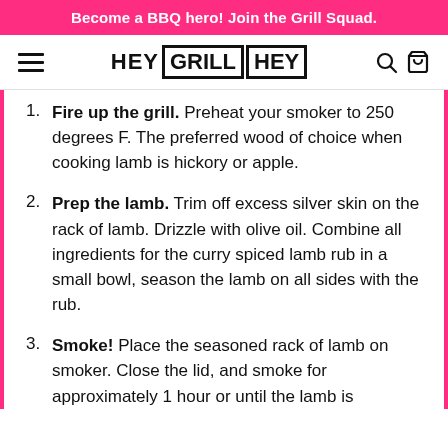Become a BBQ hero! Join the Grill Squad.
[Figure (logo): Hey Grill Hey logo with hamburger menu, search and cart icons in navigation bar]
Fire up the grill. Preheat your smoker to 250 degrees F. The preferred wood of choice when cooking lamb is hickory or apple.
Prep the lamb. Trim off excess silver skin on the rack of lamb. Drizzle with olive oil. Combine all ingredients for the curry spiced lamb rub in a small bowl, season the lamb on all sides with the rub.
Smoke! Place the seasoned rack of lamb on smoker. Close the lid, and smoke for approximately 1 hour or until the lamb is